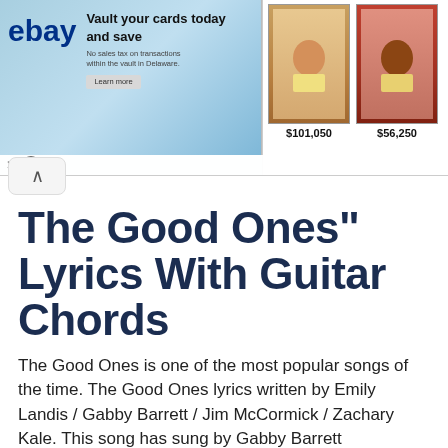[Figure (screenshot): eBay advertisement banner showing 'Vault your cards today and save' with two sports trading cards priced at $101,050 and $56,250]
The Good Ones" Lyrics With Guitar Chords
The Good Ones is one of the most popular songs of the time. The Good Ones lyrics written by Emily Landis / Gabby Barrett / Jim McCormick / Zachary Kale. This song has sung by Gabby Barrett